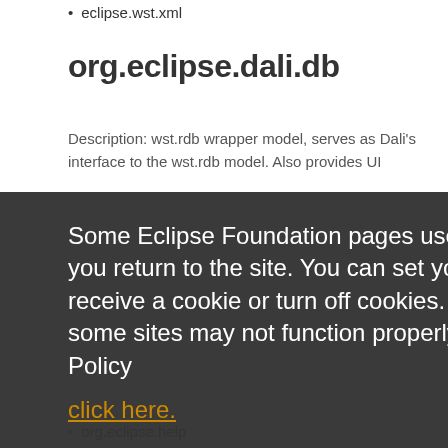eclipse.wst.xml
org.eclipse.dali.db
Description: wst.rdb wrapper model, serves as Dali's interface to the wst.rdb model. Also provides UI
Some Eclipse Foundation pages use cookies to better serve you when you return to the site. You can set your browser to notify you before you receive a cookie or turn off cookies. If you do so, however, some areas of some sites may not function properly. To read Eclipse Foundation Privacy Policy
click here.
Decline
Allow cookies
org.eclipse.help